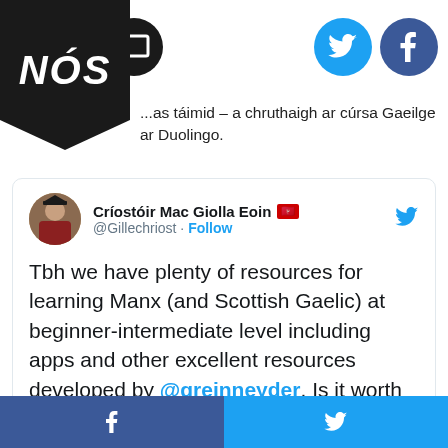[Figure (logo): NÓS logo — white italic bold text on black pentagon/shield shape]
...as táimid – a chruthaigh ar cúrsa Gaeilge ar Duolingo.
[Figure (screenshot): Embedded tweet by Críostóir Mac Giolla Eoin (@Gillechriost): 'Tbh we have plenty of resources for learning Manx (and Scottish Gaelic) at beginner-intermediate level including apps and other excellent resources developed by @greinneyder. Is it worth spending vast amounts of time and energy on jumping on the Duolingo bandwagon?....' — 1:28 PM · Nov 27, 2019]
Facebook | Twitter social share bar